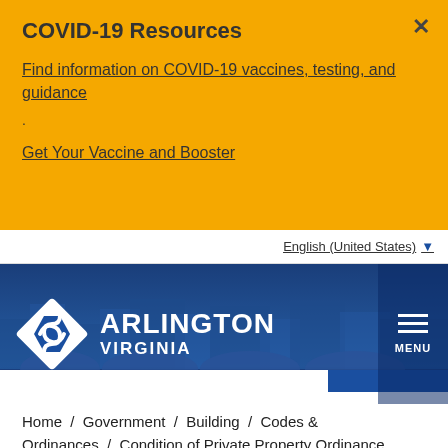COVID-19 Resources
Find information on COVID-19 vaccines, testing, and guidance
.
Get Your Vaccine and Booster
English (United States)
[Figure (logo): Arlington Virginia government logo with diamond/chevron shape and ARLINGTON VIRGINIA text, plus MENU hamburger icon on right]
Search for a service or a page
SEARCH
Home / Government / Building / Codes & Ordinances / Condition of Private Property Ordinance